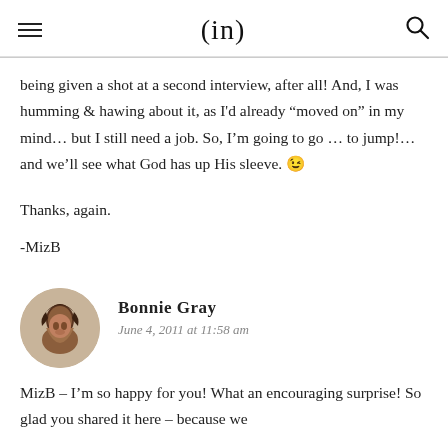(in)
being given a shot at a second interview, after all! And, I was humming & hawing about it, as I'd already “moved on” in my mind… but I still need a job. So, I’m going to go … to jump!… and we'll see what God has up His sleeve. 😉
Thanks, again.
-MizB
Bonnie Gray
June 4, 2011 at 11:58 am
MizB – I’m so happy for you! What an encouraging surprise! So glad you shared it here – because we